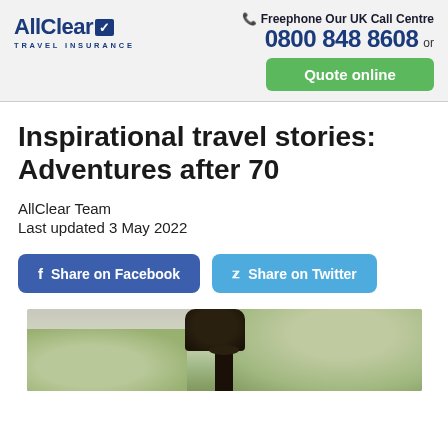[Figure (logo): AllClear Travel Insurance logo with blue text and checkmark]
Freephone Our UK Call Centre
0800 848 8608  or
[Figure (other): Green 'Quote online' button]
Inspirational travel stories: Adventures after 70
AllClear Team
Last updated 3 May 2022
[Figure (other): Blue 'Share on Facebook' button]
[Figure (other): Light blue 'Share on Twitter' button]
[Figure (photo): Photo of an ornate lamp post with trees in the background]